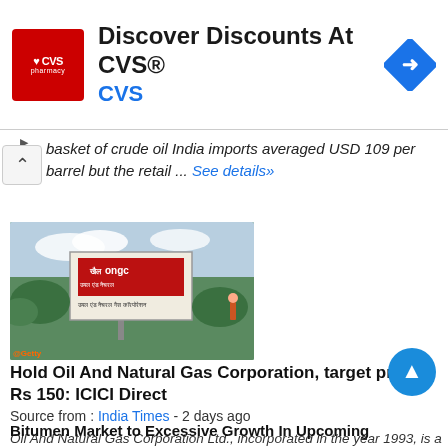[Figure (other): CVS Pharmacy advertisement banner with red CVS logo, text 'Discover Discounts At CVS®' and blue navigation diamond icon]
basket of crude oil India imports averaged USD 109 per barrel but the retail ... See details»
[Figure (photo): Photo of ONGC billboard sign in outdoor setting with greenery]
Hold Oil And Natural Gas Corporation, target price Rs 150: ICICI Direct
Source from : India Times - 2 days ago
Oil And Natural Gas Corporation Ltd., incorporated in the year 1993, is a Large Cap company (having a market cap of Rs 175683.60 Crore) operating in Gas & Petroleum sector. See details»
Bitumen Market to Excessive Growth In Upcoming